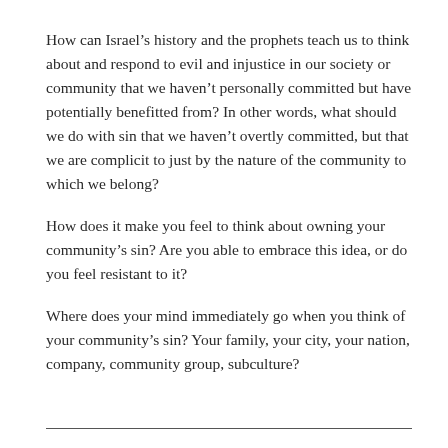How can Israel's history and the prophets teach us to think about and respond to evil and injustice in our society or community that we haven't personally committed but have potentially benefitted from? In other words, what should we do with sin that we haven't overtly committed, but that we are complicit to just by the nature of the community to which we belong?
How does it make you feel to think about owning your community's sin? Are you able to embrace this idea, or do you feel resistant to it?
Where does your mind immediately go when you think of your community's sin? Your family, your city, your nation, company, community group, subculture?